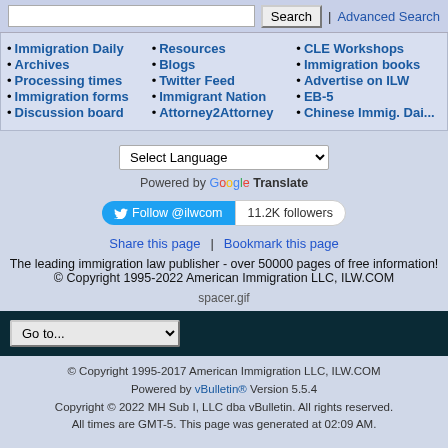• Immigration Daily • Archives • Processing times • Immigration forms • Discussion board
• Resources • Blogs • Twitter Feed • Immigrant Nation • Attorney2Attorney
• CLE Workshops • Immigration books • Advertise on ILW • EB-5 • Chinese Immig. Dai...
Select Language
Powered by Google Translate
Follow @ilwcom  11.2K followers
Share this page  |  Bookmark this page
The leading immigration law publisher - over 50000 pages of free information!
© Copyright 1995-2022 American Immigration LLC, ILW.COM
spacer.gif
Go to...
© Copyright 1995-2017 American Immigration LLC, ILW.COM
Powered by vBulletin® Version 5.5.4
Copyright © 2022 MH Sub I, LLC dba vBulletin. All rights reserved.
All times are GMT-5. This page was generated at 02:09 AM.